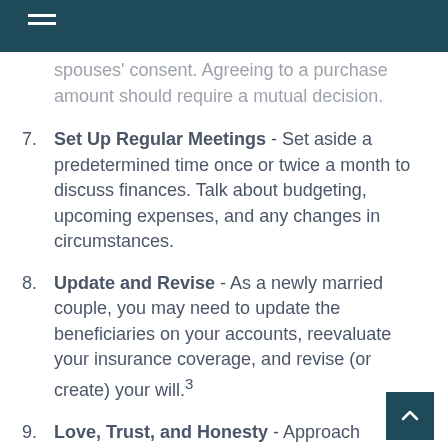spouses' consent. Agreeing to a purchase amount should require a mutual decision.
7. Set Up Regular Meetings - Set aside a predetermined time once or twice a month to discuss finances. Talk about budgeting, upcoming expenses, and any changes in circumstances.
8. Update and Revise - As a newly married couple, you may need to update the beneficiaries on your accounts, reevaluate your insurance coverage, and revise (or create) your will.³
9. Love, Trust, and Honesty - Approach